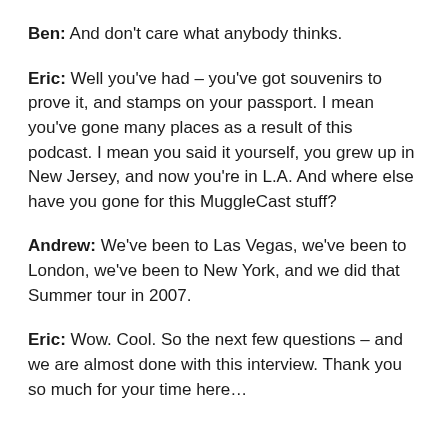Ben: And don't care what anybody thinks.
Eric: Well you've had – you've got souvenirs to prove it, and stamps on your passport. I mean you've gone many places as a result of this podcast. I mean you said it yourself, you grew up in New Jersey, and now you're in L.A. And where else have you gone for this MuggleCast stuff?
Andrew: We've been to Las Vegas, we've been to London, we've been to New York, and we did that Summer tour in 2007.
Eric: Wow. Cool. So the next few questions – and we are almost done with this interview. Thank you so much for your time here…